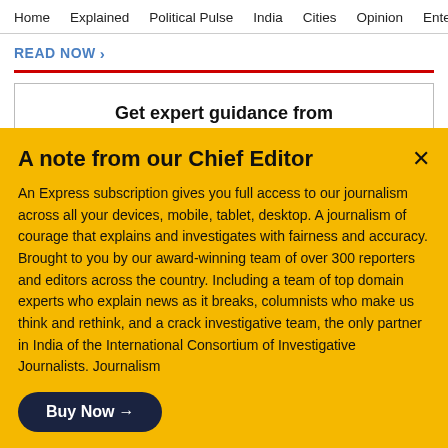Home  Explained  Political Pulse  India  Cities  Opinion  Entertainment
READ NOW >
[Figure (infographic): Advertisement box for Indian Express Education with text 'Get expert guidance from Indian Express Education' and a red button 'CLICK TO KNOW MORE']
A note from our Chief Editor
An Express subscription gives you full access to our journalism across all your devices, mobile, tablet, desktop. A journalism of courage that explains and investigates with fairness and accuracy. Brought to you by our award-winning team of over 300 reporters and editors across the country. Including a team of top domain experts who explain news as it breaks, columnists who make us think and rethink, and a crack investigative team, the only partner in India of the International Consortium of Investigative Journalists. Journalism
Buy Now →